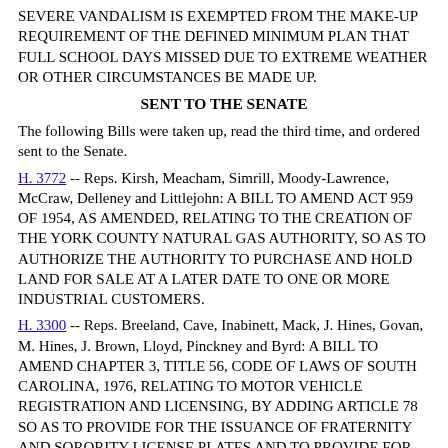SEVERE VANDALISM IS EXEMPTED FROM THE MAKE-UP REQUIREMENT OF THE DEFINED MINIMUM PLAN THAT FULL SCHOOL DAYS MISSED DUE TO EXTREME WEATHER OR OTHER CIRCUMSTANCES BE MADE UP.
SENT TO THE SENATE
The following Bills were taken up, read the third time, and ordered sent to the Senate.
H. 3772 -- Reps. Kirsh, Meacham, Simrill, Moody-Lawrence, McCraw, Delleney and Littlejohn: A BILL TO AMEND ACT 959 OF 1954, AS AMENDED, RELATING TO THE CREATION OF THE YORK COUNTY NATURAL GAS AUTHORITY, SO AS TO AUTHORIZE THE AUTHORITY TO PURCHASE AND HOLD LAND FOR SALE AT A LATER DATE TO ONE OR MORE INDUSTRIAL CUSTOMERS.
H. 3300 -- Reps. Breeland, Cave, Inabinett, Mack, J. Hines, Govan, M. Hines, J. Brown, Lloyd, Pinckney and Byrd: A BILL TO AMEND CHAPTER 3, TITLE 56, CODE OF LAWS OF SOUTH CAROLINA, 1976, RELATING TO MOTOR VEHICLE REGISTRATION AND LICENSING, BY ADDING ARTICLE 78 SO AS TO PROVIDE FOR THE ISSUANCE OF FRATERNITY AND SORORITY LICENSE PLATES AND TO PROVIDE FOR THE DISTRIBUTION OF FEES COLLECTED.